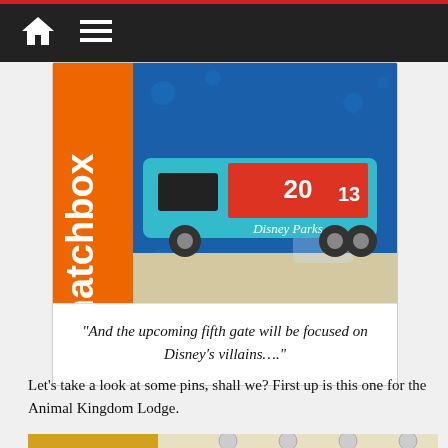Navigation bar with home and menu icons
[Figure (photo): A Matchbox Disney Parks toy bus in teal/turquoise color with Mickey Mouse and characters artwork and '20' anniversary branding, in its retail packaging with blue Disney Parks background]
“And the upcoming fifth gate will be focused on Disney’s villains….”
Let’s take a look at some pins, shall we? First up is this one for the Animal Kingdom Lodge.
[Figure (photo): Partial view of what appears to be Disney collectible pins or similar merchandise, partially cut off at bottom of page]